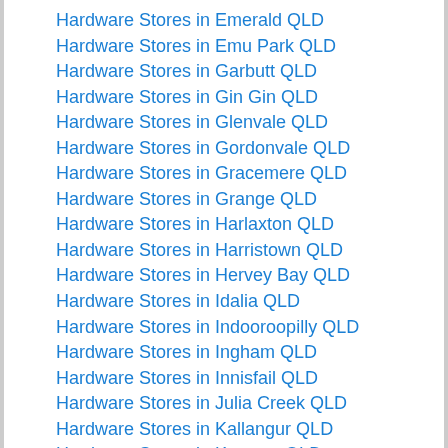Hardware Stores in Emerald QLD
Hardware Stores in Emu Park QLD
Hardware Stores in Garbutt QLD
Hardware Stores in Gin Gin QLD
Hardware Stores in Glenvale QLD
Hardware Stores in Gordonvale QLD
Hardware Stores in Gracemere QLD
Hardware Stores in Grange QLD
Hardware Stores in Harlaxton QLD
Hardware Stores in Harristown QLD
Hardware Stores in Hervey Bay QLD
Hardware Stores in Idalia QLD
Hardware Stores in Indooroopilly QLD
Hardware Stores in Ingham QLD
Hardware Stores in Innisfail QLD
Hardware Stores in Julia Creek QLD
Hardware Stores in Kallangur QLD
Hardware Stores in Kawana QLD
Hardware Stores in Keperra QLD